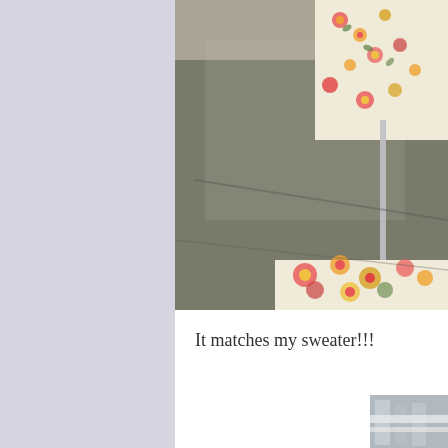[Figure (photo): Floral-upholstered chair with colorful flower pattern on seat and back, chrome legs, sitting on textured gray carpet/concrete surface, photographed outdoors in sunlight]
It matches my sweater!!!
[Figure (photo): Partial view of what appears to be chairs or furniture, cropped at bottom right corner of page]